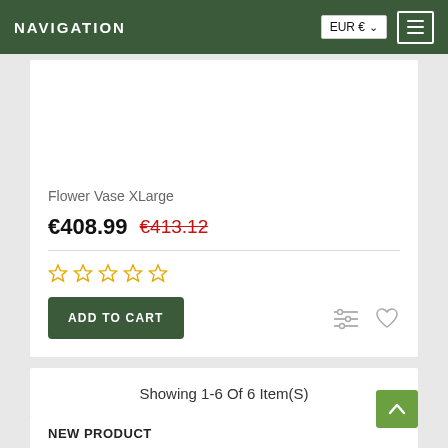NAVIGATION
Flower Vase XLarge
€408.99 €413.12
ADD TO CART
Showing 1-6 Of 6 Item(S)
NEW PRODUCT